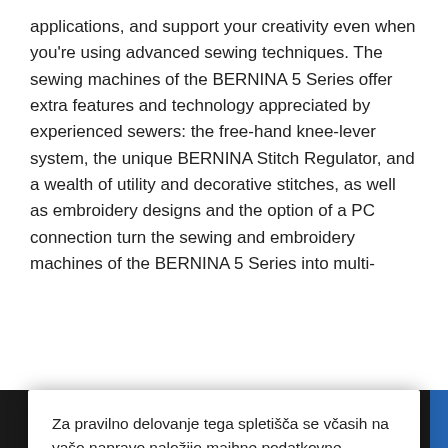applications, and support your creativity even when you're using advanced sewing techniques. The sewing machines of the BERNINA 5 Series offer extra features and technology appreciated by experienced sewers: the free-hand knee-lever system, the unique BERNINA Stitch Regulator, and a wealth of utility and decorative stitches, as well as embroidery designs and the option of a PC connection turn the sewing and embroidery machines of the BERNINA 5 Series into multi-
Za pravilno delovanje tega spletišča se včasih na vašo napravo naložijo majhne podatkovne datoteke, imenovane piškotki. Sistemski piškotki, ki so nujni za delovanje, so že dovoljeni. Vaša izbira pa je, da dovolite ali zavrnete piškotke analitike in trženja, ki nudijo boljšo uporabniško izkušnjo, enostavnejšo uporabo strani in prikaz ponudbe, ki je relevantna za vas.
Keep disabled
ENABLE